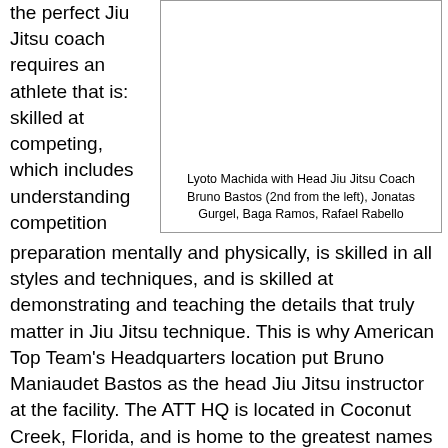the perfect Jiu Jitsu coach requires an athlete that is: skilled at competing, which includes understanding competition
[Figure (photo): Photo of Lyoto Machida with Head Jiu Jitsu Coach Bruno Bastos and others]
Lyoto Machida with Head Jiu Jitsu Coach Bruno Bastos (2nd from the left), Jonatas Gurgel, Baga Ramos, Rafael Rabello
preparation mentally and physically, is skilled in all styles and techniques, and is skilled at demonstrating and teaching the details that truly matter in Jiu Jitsu technique. This is why American Top Team's Headquarters location put Bruno Maniaudet Bastos as the head Jiu Jitsu instructor at the facility. The ATT HQ is located in Coconut Creek, Florida, and is home to the greatest names in Mixed Martial Arts, Brazilian Jiu Jitsu, Muy Thai, and Physical Training. Bruno Bastos has an impressive competition track record, which includes World Titles at many of the largest tournaments around the world. His style and technique is unique. And his personality is humble yet determined. In speaking with Bruno he told us, 'In Brazil, I would compete at as a White Belt or